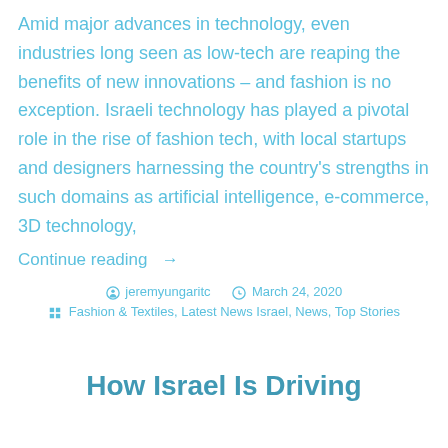Amid major advances in technology, even industries long seen as low-tech are reaping the benefits of new innovations – and fashion is no exception. Israeli technology has played a pivotal role in the rise of fashion tech, with local startups and designers harnessing the country's strengths in such domains as artificial intelligence, e-commerce, 3D technology,
Continue reading →
By jeremyungaritc   March 24, 2020
Fashion & Textiles, Latest News Israel, News, Top Stories
How Israel Is Driving